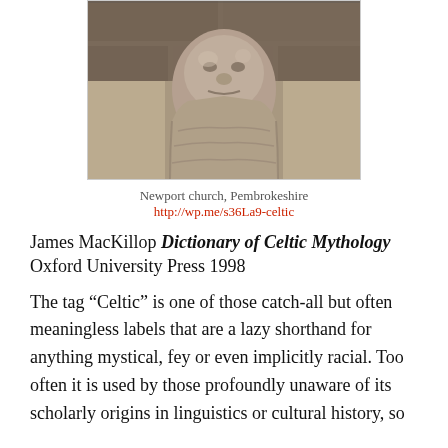[Figure (photo): A stone carving or architectural detail from Newport church, Pembrokeshire — a rough stone corbel or head emerging from a wall.]
Newport church, Pembrokeshire
http://wp.me/s36La9-celtic
James MacKillop Dictionary of Celtic Mythology
Oxford University Press 1998
The tag “Celtic” is one of those catch-all but often meaningless labels that are a lazy shorthand for anything mystical, fey or even implicitly racial. Too often it is used by those profoundly unaware of its scholarly origins in linguistics or cultural history, so